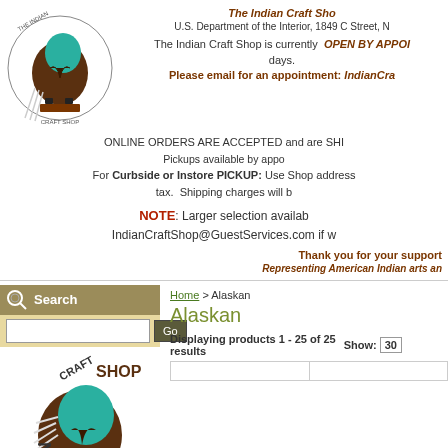[Figure (logo): The Indian Craft Shop circular logo with Native American figure and craft items]
The Indian Craft Shop
U.S. Department of the Interior, 1849 C Street, N...
The Indian Craft Shop is currently OPEN BY APPOINTMENT days.
Please email for an appointment: IndianCra...
ONLINE ORDERS ARE ACCEPTED and are SHI...
Pickups available by appo...
For Curbside or Instore PICKUP: Use Shop address... tax. Shipping charges will b...
NOTE: Larger selection availab... IndianCraftShop@GuestServices.com if w...
Thank you for your support...
Representing American Indian arts and...
Home > Alaskan
Alaskan
Displaying products 1 - 25 of 25 results  Show: 30
[Figure (logo): The Indian Craft Shop logo repeated at bottom left]